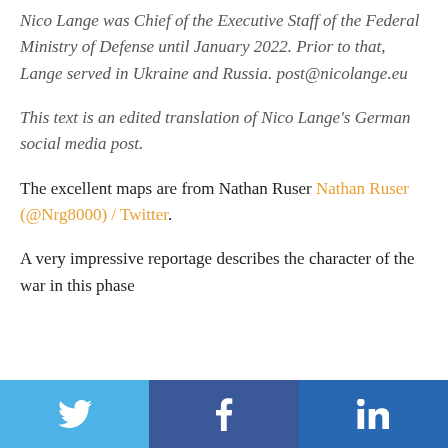Nico Lange was Chief of the Executive Staff of the Federal Ministry of Defense until January 2022. Prior to that, Lange served in Ukraine and Russia. post@nicolange.eu
This text is an edited translation of Nico Lange's German social media post.
The excellent maps are from Nathan Ruser Nathan Ruser (@Nrg8000) / Twitter.
A very impressive reportage describes the character of the war in this phase
[Figure (other): Social media sharing bar with Twitter, Facebook, and LinkedIn buttons]